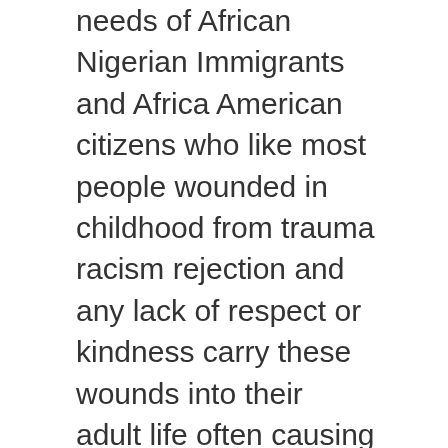needs of African Nigerian Immigrants and Africa American citizens who like most people wounded in childhood from trauma racism rejection and any lack of respect or kindness carry these wounds into their adult life often causing economic, emotional, physical health issues, and addictions. Blame, racism prejudice often lead society to lose the momentum to reach higher awareness and unity for improvements for all groups. Though it is definitely harder for immigrants of any race religion and nationality to assimilate into a culture that is very different than their own, it is necessary! It is only through letting go of the past and building a better NOW that we move